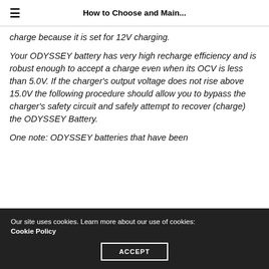How to Choose and Main...
charge because it is set for 12V charging.
Your ODYSSEY battery has very high recharge efficiency and is robust enough to accept a charge even when its OCV is less than 5.0V. If the charger's output voltage does not rise above 15.0V the following procedure should allow you to bypass the charger's safety circuit and safely attempt to recover (charge) the ODYSSEY Battery.
One note: ODYSSEY batteries that have been
Our site uses cookies. Learn more about our use of cookies: Cookie Policy
ACCEPT